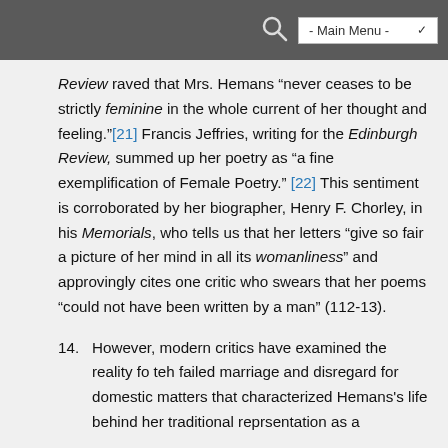- Main Menu -
Review raved that Mrs. Hemans "never ceases to be strictly feminine in the whole current of her thought and feeling."[21] Francis Jeffries, writing for the Edinburgh Review, summed up her poetry as "a fine exemplification of Female Poetry." [22] This sentiment is corroborated by her biographer, Henry F. Chorley, in his Memorials, who tells us that her letters "give so fair a picture of her mind in all its womanliness" and approvingly cites one critic who swears that her poems "could not have been written by a man" (112-13).
14. However, modern critics have examined the reality fo teh failed marriage and disregard for domestic matters that characterized Hemans's life behind her traditional reprsentation as a